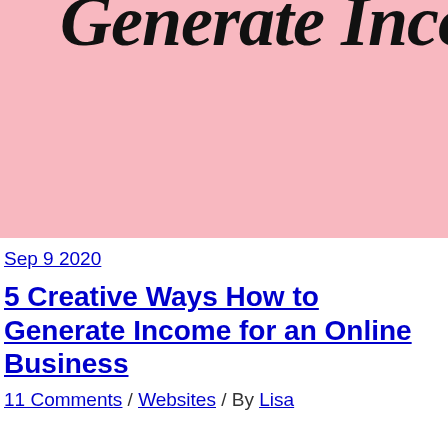[Figure (illustration): Pink background banner with decorative script/italic text reading 'Generate Incom' (partially cropped), in bold black script font on a light pink background.]
Sep 9 2020
5 Creative Ways How to Generate Income for an Online Business
11 Comments / Websites / By Lisa